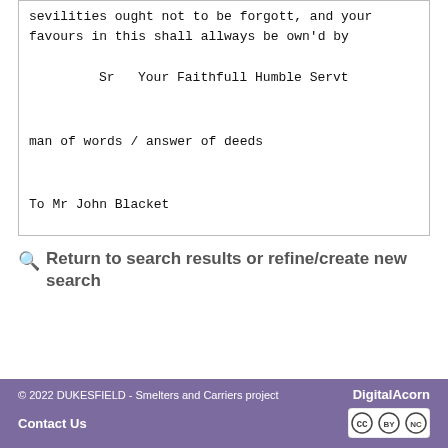sevilities ought not to be forgott, and your favours in this shall allways be own'd by

    Sr  Your Faithfull Humble Servt


man of words / answer of deeds


To Mr John Blacket
Return to search results or refine/create new search
© 2022 DUKESFIELD - Smelters and Carriers project DigitalAcorn  Contact Us